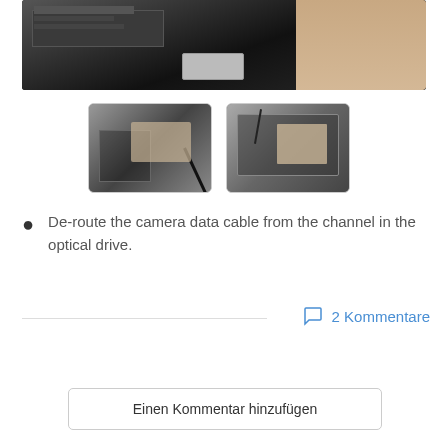[Figure (photo): Top photo showing inside of a laptop/optical drive with a label sticker and screw visible, hand in upper right corner]
[Figure (photo): Thumbnail 1: Close-up of a screwdriver de-routing a cable from a laptop optical drive]
[Figure (photo): Thumbnail 2: Close-up of hands de-routing a cable from a laptop optical drive]
De-route the camera data cable from the channel in the optical drive.
2 Kommentare
Einen Kommentar hinzufügen